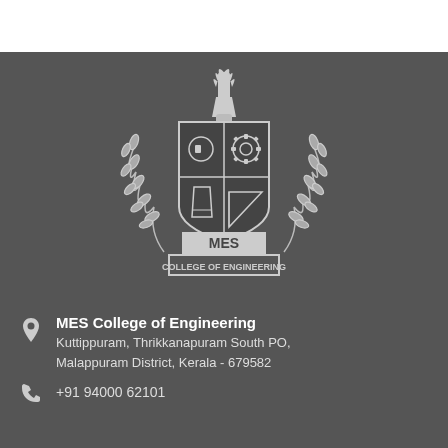[Figure (logo): MES College of Engineering crest/logo with torch, wheat wreaths, shield with engineering symbols, and text MES COLLEGE OF ENGINEERING]
MES College of Engineering
Kuttippuram, Thrikkanapuram South PO,
Malappuram District, Kerala - 679582
+91 94000 62101